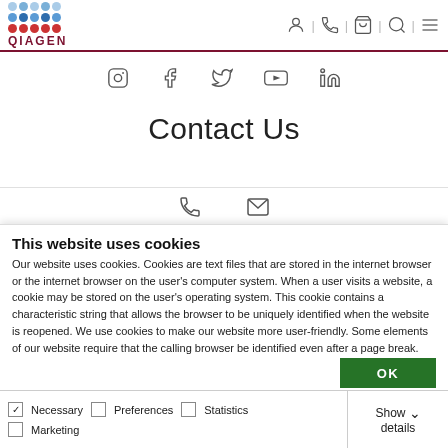[Figure (logo): QIAGEN logo with blue dot grid and red brand name]
[Figure (illustration): Navigation icons: person, phone, cart, search, menu]
[Figure (illustration): Social media icons: Instagram, Facebook, Twitter, YouTube, LinkedIn]
Contact Us
[Figure (illustration): Contact icons: phone and email/envelope]
This website uses cookies
Our website uses cookies. Cookies are text files that are stored in the internet browser or the internet browser on the user's computer system. When a user visits a website, a cookie may be stored on the user's operating system. This cookie contains a characteristic string that allows the browser to be uniquely identified when the website is reopened. We use cookies to make our website more user-friendly. Some elements of our website require that the calling browser be identified even after a page break.
OK
Necessary  Preferences  Statistics  Marketing  Show details